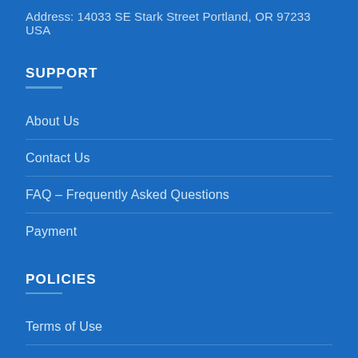Address: 14033 SE Stark Street Portland, OR 97233 USA
SUPPORT
About Us
Contact Us
FAQ – Frequently Asked Questions
Payment
POLICIES
Terms of Use
Privacy Policy
Return & Refund Poli…